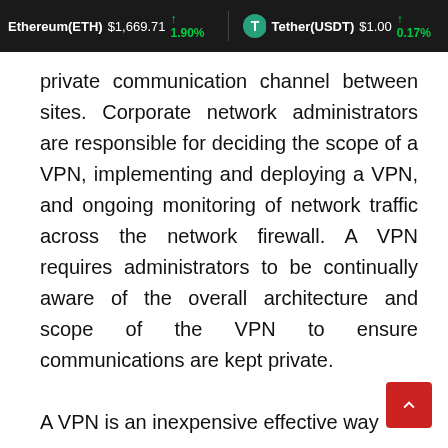Ethereum(ETH) $1,669.71 ↑ 1.90%   Tether(USDT) $1.00 ↑ 0.17%
private communication channel between sites. Corporate network administrators are responsible for deciding the scope of a VPN, implementing and deploying a VPN, and ongoing monitoring of network traffic across the network firewall. A VPN requires administrators to be continually aware of the overall architecture and scope of the VPN to ensure communications are kept private.

A VPN is an inexpensive effective way